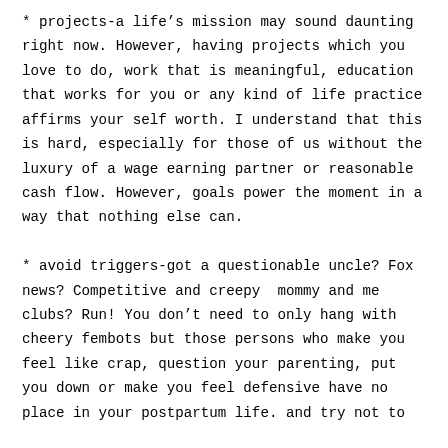* projects-a life's mission may sound daunting right now. However, having projects which you love to do, work that is meaningful, education that works for you or any kind of life practice affirms your self worth. I understand that this is hard, especially for those of us without the luxury of a wage earning partner or reasonable cash flow. However, goals power the moment in a way that nothing else can.
* avoid triggers-got a questionable uncle? Fox news? Competitive and creepy  mommy and me clubs? Run! You don't need to only hang with cheery fembots but those persons who make you feel like crap, question your parenting, put you down or make you feel defensive have no place in your postpartum life. and try not to